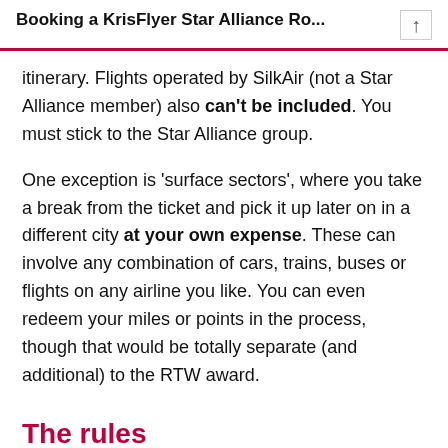Booking a KrisFlyer Star Alliance Ro...
itinerary. Flights operated by SilkAir (not a Star Alliance member) also can't be included. You must stick to the Star Alliance group.
One exception is ‘surface sectors’, where you take a break from the ticket and pick it up later on in a different city at your own expense. These can involve any combination of cars, trains, buses or flights on any airline you like. You can even redeem your miles or points in the process, though that would be totally separate (and additional) to the RTW award.
The rules